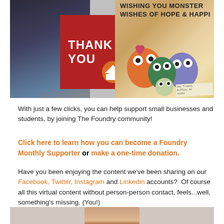[Figure (photo): Photo collage showing a group photo on the left, a red 'THANK YOU' card in the middle with a house/foundry icon, and a hand-drawn card on the right with monster characters and text 'WISHING YOU MONSTER WISHES OF HOPE & HAPPI...']
With just a few clicks, you can help support small businesses and students, by joining The Foundry community!
Click here to learn how you can become a Foundry Monthly Supporter or make a one-time donation.
Have you been enjoying the content we've been sharing on our Facebook, Twitter, Instagram and Linkedin accounts?  Of course all this virtual content without person-person contact, feels...well, something's missing. (You!)
[Figure (photo): Partial photo of a person's face at the bottom of the page]